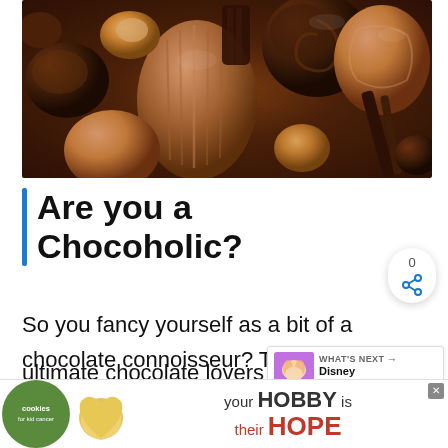[Figure (photo): Close-up photograph of various chocolate candies and truffles in shades of milk and dark chocolate]
Are you a Chocoholic?
So you fancy yourself as a bit of a chocolate connoisseur? Then you need to try our ultimate chocolate lovers quiz. You'll find 100 questions...
[Figure (infographic): WHAT'S NEXT arrow label with Disney Princesses thumbnail]
[Figure (infographic): Advertisement banner: cookies for kid cancer – your HOBBY is their HOPE]